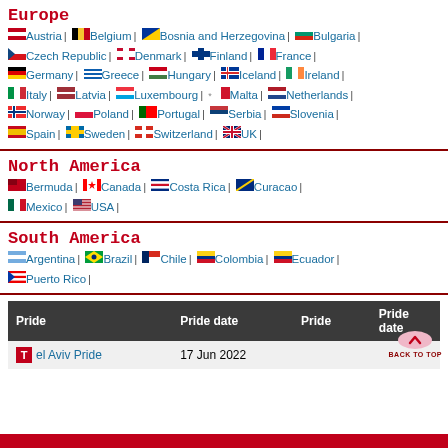Europe
Austria | Belgium | Bosnia and Herzegovina | Bulgaria | Czech Republic | Denmark | Finland | France | Germany | Greece | Hungary | Iceland | Ireland | Italy | Latvia | Luxembourg | Malta | Netherlands | Norway | Poland | Portugal | Serbia | Slovenia | Spain | Sweden | Switzerland | UK
North America
Bermuda | Canada | Costa Rica | Curacao | Mexico | USA
South America
Argentina | Brazil | Chile | Colombia | Ecuador | Puerto Rico
| Pride | Pride date | Pride | Pride date |
| --- | --- | --- | --- |
| Tel Aviv Pride | 17 Jun 2022 |  |  |